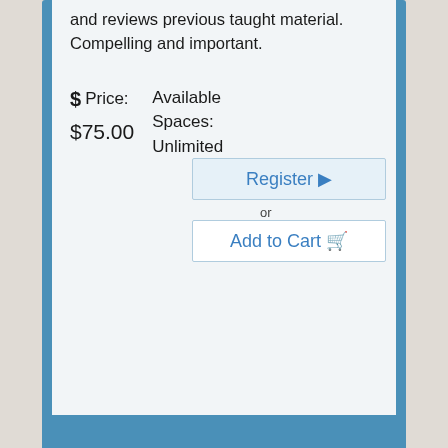and reviews previous taught material.  Compelling and important.
$ Price:
$75.00
Available Spaces: Unlimited
Register ⊕
or
Add to Cart 🛒
📅 Date:
November 2, 2022